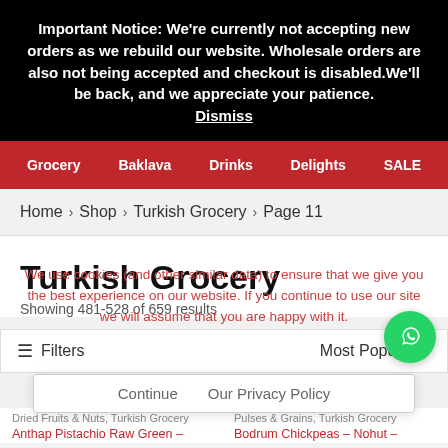Important Notice: We're currently not accepting new orders as we rebuild our website. Wholesale orders are also not being accepted and checkout is disabled.We'll be back, and we appreciate your patience. Dismiss
Grocery | Baklava | Drinks | Delights | SALE
Home > Shop > Turkish Grocery > Page 11
Turkish Grocery
Showing 481-528 of 659 results
We use cookies (and other similar data) to ensure that we give you the best experience on our website. If you continue to use our site we will assume that you are happy with it.
Filters | Most Popular
Continue   Our Privacy Policy
Dried Fruits & Nuts, Turkish Grocery
Anthap Pistachio Raw Green –
Pulses & Grains, Turkish Grocery
Bodrum Chickpeas – Nohut –